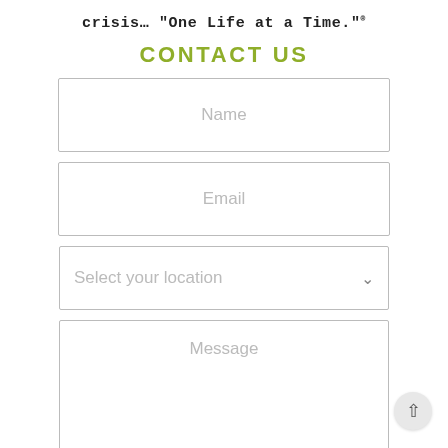crisis… “One Life at a Time.”®
CONTACT US
[Figure (other): Contact form with fields: Name, Email, Select your location (dropdown), Message (textarea)]